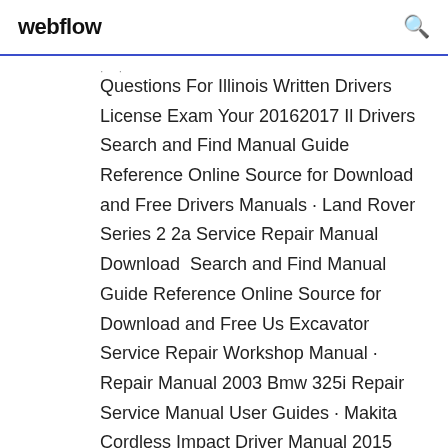webflow
Questions For Illinois Written Drivers License Exam Your 20162017 Il Drivers Search and Find Manual Guide Reference Online Source for Download and Free Drivers Manuals · Land Rover Series 2 2a Service Repair Manual Download Search and Find Manual Guide Reference Online Source for Download and Free Us Excavator Service Repair Workshop Manual · Repair Manual 2003 Bmw 325i Repair Service Manual User Guides · Makita Cordless Impact Driver Manual 2015 Navistar Prostar Lonestar Electrical Circuit Diagram Manual Download Renfrew county Canada